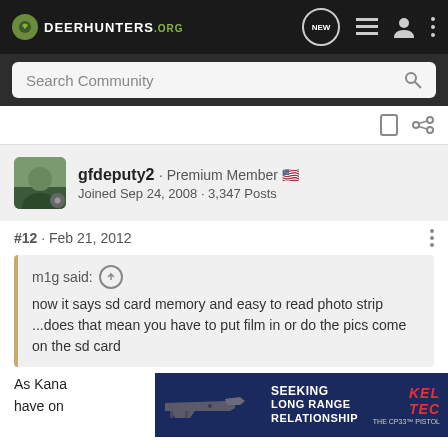DeerHunters.org - Navigation bar with NEW, list, user, and menu icons
Search Community
gfdeputy2 · Premium Member 🇺🇸
Joined Sep 24, 2008 · 3,347 Posts
#12 · Feb 21, 2012
m1g said:
now it says sd card memory and easy to read photo strip ...does that mean you have to put film in or do the pics come on the sd card
As Kana... not have on... is the
[Figure (advertisement): Kel-Tec advertisement - SEEKING LONG RANGE RELATIONSHIP - THE CP33 PISTOL]